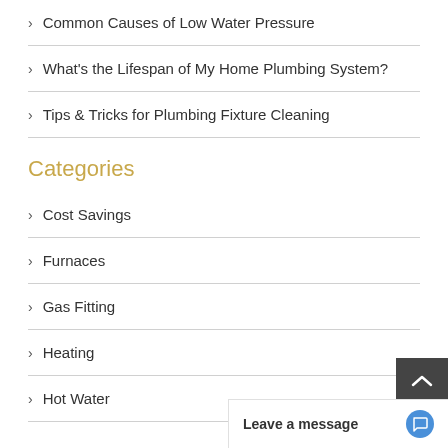Common Causes of Low Water Pressure
What's the Lifespan of My Home Plumbing System?
Tips & Tricks for Plumbing Fixture Cleaning
Categories
Cost Savings
Furnaces
Gas Fitting
Heating
Hot Water